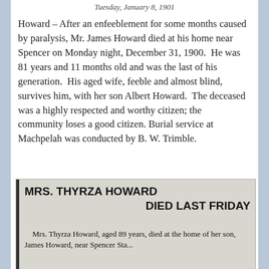Tuesday, January 8, 1901
Howard – After an enfeeblement for some months caused by paralysis, Mr. James Howard died at his home near Spencer on Monday night, December 31, 1900.  He was 81 years and 11 months old and was the last of his generation.  His aged wife, feeble and almost blind, survives him, with her son Albert Howard.  The deceased was a highly respected and worthy citizen; the community loses a good citizen.  Burial service at Machpelah was conducted by B. W. Trimble.
[Figure (photo): Scanned newspaper clipping with bold headline 'MRS. THYRZA HOWARD DIED LAST FRIDAY' and partial article text: 'Mrs. Thyrza Howard, aged 89 years, died at the home of her son, James Howard, near Spencer Sta...']